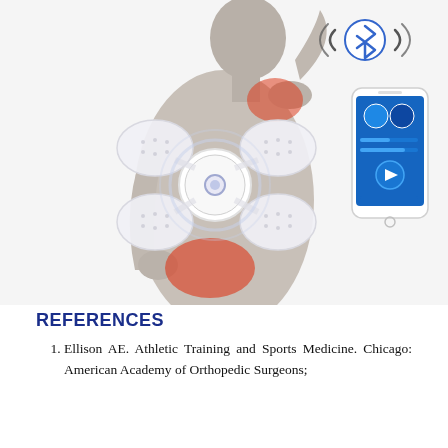[Figure (photo): Photo of a man from the back showing neck and lower back pain with red highlights on pain areas, a TENS/EMS wireless device placed on his back with electrode pads, a smartphone with a Bluetooth control app shown in the upper right with Bluetooth signal icon, and Google Play and App Store download badges at the bottom right.]
REFERENCES
Ellison AE. Athletic Training and Sports Medicine. Chicago: American Academy of Orthopedic Surgeons;